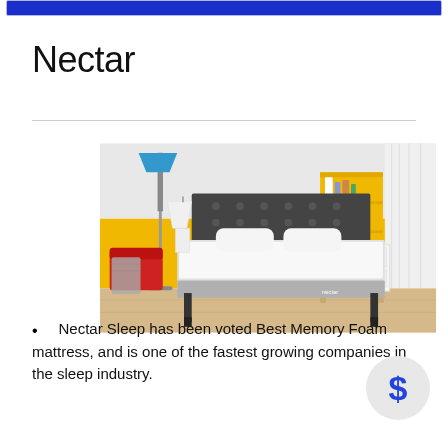Nectar
[Figure (photo): Bedroom scene showing a Nectar mattress on a dark grey bed frame with pillows, against a yellow and white wall, with a red chair, floor lamp, bookshelf, and white dresser in the background.]
Nectar Sleep has been voted Best Memory Foam mattress, and is one of the fastest growing companies in the sleep industry.